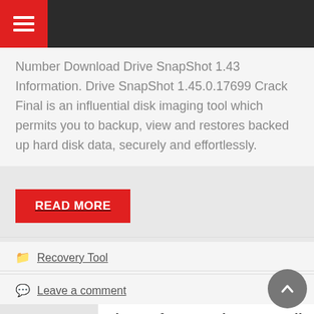Navigation menu header bar
Number Download Drive SnapShot 1.43 Information. Drive SnapShot 1.45.0.17699 Crack Final is an influential disk imaging tool which permits you to backup, view and restores backed up hard disk data, securely and effortlessly.
READ MORE
Recovery Tool
Leave a comment
Aiseesoft FoneLab 9.0.72 Full Crack & License Key
[Figure (screenshot): Aiseesoft FoneLab software box art showing the Aiseesoft logo with a colorful plus icon]